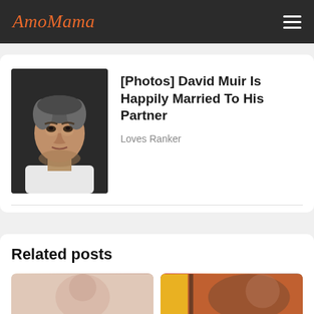AmoMama
[Photos] David Muir Is Happily Married To His Partner
Loves Ranker
Related posts
[Figure (photo): Photo of a man with dark grey hair against a dark background]
[Figure (photo): Related post thumbnail image - light pink tones]
[Figure (photo): Related post thumbnail image - warm brown/red tones]